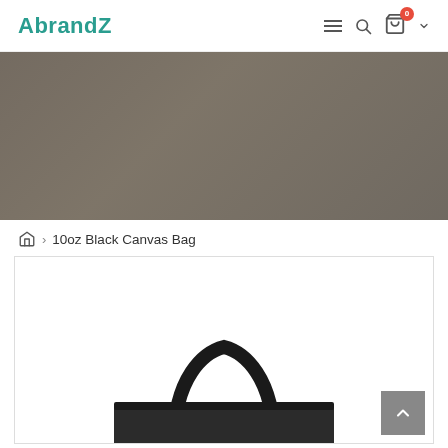AbrandZ
[Figure (photo): Hero banner with dark grey/brown background showing partial product image area]
Home > 10oz Black Canvas Bag
[Figure (photo): Product photo of a 10oz Black Canvas Bag with black handles, white canvas body, shown partially from above angle]